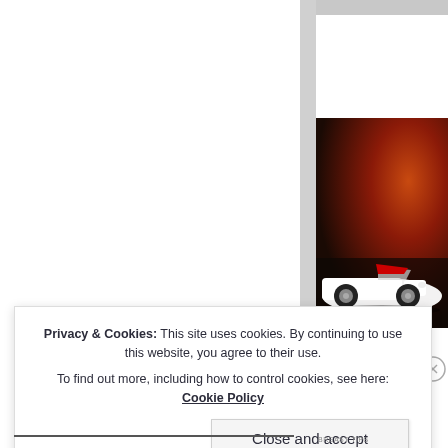[Figure (photo): Partial view of a white classic convertible car against a dark red/orange gradient background, shown in the right panel of a webpage]
Privacy & Cookies: This site uses cookies. By continuing to use this website, you agree to their use. To find out more, including how to control cookies, see here: Cookie Policy
Close and accept